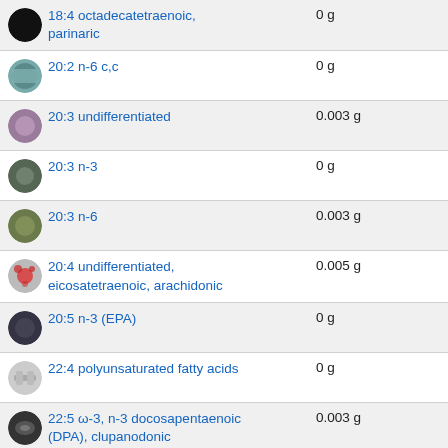18:4 octadecatetraenoic, parinaric — 0 g
20:2 n-6 c,c — 0 g
20:3 undifferentiated — 0.003 g
20:3 n-3 — 0 g
20:3 n-6 — 0.003 g
20:4 undifferentiated, eicosatetraenoic, arachidonic — 0.005 g
20:5 n-3 (EPA) — 0 g
22:4 polyunsaturated fatty acids — 0 g
22:5 ω-3, n-3 docosapentaenoic (DPA), clupanodonic — 0.003 g
22:6 Omega−3 DHA (ω-3, n-3) docosahexaenoic — 0 g
Fatty acids, total trans — 0.085 g — 0.08%
Fatty acids, total trans- — 0.068 g — 0.07%